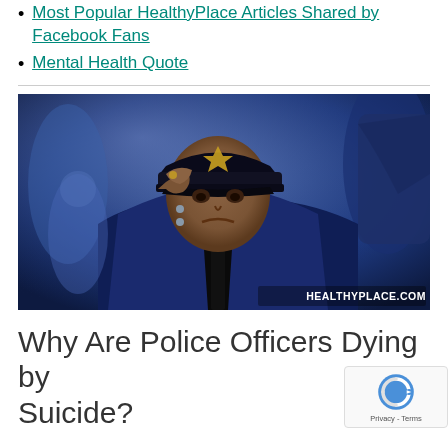Most Popular HealthyPlace Articles Shared by Facebook Fans
Mental Health Quote
[Figure (photo): A uniformed officer or firefighter in a dark blue uniform and cap with a gold badge, saluting with a pained or emotional expression, with other uniformed individuals blurred in the background. Watermark reads HEALTHYPLACE.COM]
Why Are Police Officers Dying by Suicide?